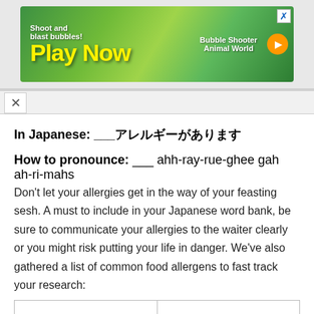[Figure (screenshot): Advertisement banner: 'Shoot and blast bubbles! Play Now - Bubble Shooter Animal World' with green background and cartoon animals]
In Japanese: ___ アレルギーがあります
How to pronounce: ___ ahh-ray-rue-ghee gah ah-ri-mahs
Don't let your allergies get in the way of your feasting sesh. A must to include in your Japanese word bank, be sure to communicate your allergies to the waiter clearly or you might risk putting your life in danger. We've also gathered a list of common food allergens to fast track your research:
|  |  |